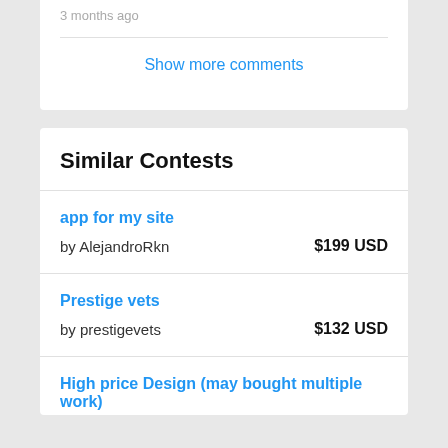3 months ago
Show more comments
Similar Contests
app for my site
by AlejandroRkn
$199 USD
Prestige vets
by prestigevets
$132 USD
High price Design (may bought multiple work)